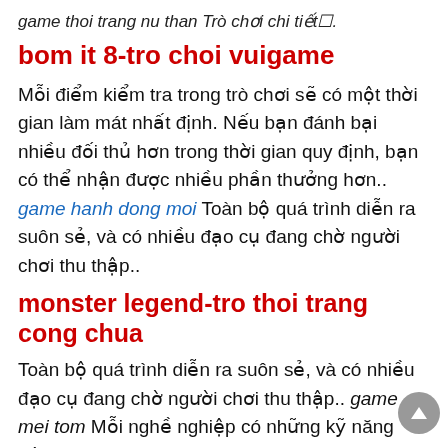game thoi trang nu than Trò chơi chi tiết⬛.
bom it 8-tro choi vuigame
Mỗi điểm kiểm tra trong trò chơi sẽ có một thời gian làm mát nhất định. Nếu bạn đánh bại nhiều đối thủ hơn trong thời gian quy định, bạn có thể nhận được nhiều phần thưởng hơn.. game hanh dong moi Toàn bộ quá trình diễn ra suôn sẻ, và có nhiều đạo cụ đang chờ người chơi thu thập..
monster legend-tro thoi trang cong chua
Toàn bộ quá trình diễn ra suôn sẻ, và có nhiều đạo cụ đang chờ người chơi thu thập.. game mei tom Mỗi nghề nghiệp có những kỹ năng độc đáo,